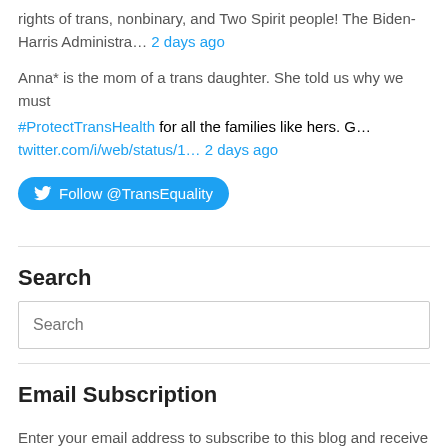rights of trans, nonbinary, and Two Spirit people! The Biden-Harris Administra… 2 days ago
Anna* is the mom of a trans daughter. She told us why we must #ProtectTransHealth for all the families like hers. G… twitter.com/i/web/status/1… 2 days ago
Follow @TransEquality
Search
Search
Email Subscription
Enter your email address to subscribe to this blog and receive notifications of new posts by email.